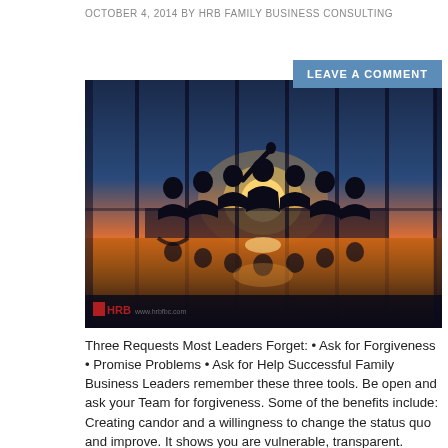OCTOBER 4, 2014 BY HRB FAMILY BUSINESS CONSULTING
LEAVE A COMMENT
[Figure (photo): Silhouettes of business people sitting around a conference table against a dramatic sunset background with large windows and reflections on the table surface, with HRB logo watermark in the lower left corner.]
Three Requests Most Leaders Forget: • Ask for Forgiveness • Promise Problems • Ask for Help Successful Family Business Leaders remember these three tools. Be open and ask your Team for forgiveness. Some of the benefits include: Creating candor and a willingness to change the status quo and improve. It shows you are vulnerable, transparent.
[Continue Reading]